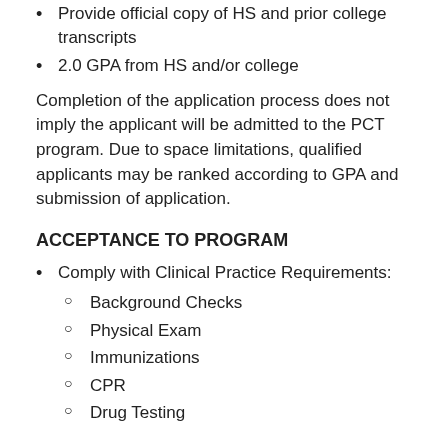Provide official copy of HS and prior college transcripts
2.0 GPA from HS and/or college
Completion of the application process does not imply the applicant will be admitted to the PCT program. Due to space limitations, qualified applicants may be ranked according to GPA and submission of application.
ACCEPTANCE TO PROGRAM
Comply with Clinical Practice Requirements:
Background Checks
Physical Exam
Immunizations
CPR
Drug Testing
GRADUATION REQUIREMENTS: